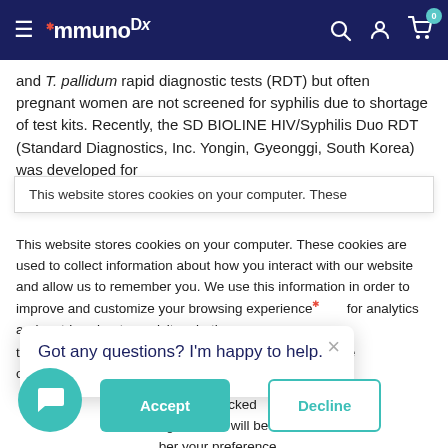ImmunoDx — website header navigation
and T. pallidum rapid diagnostic tests (RDT) but often pregnant women are not screened for syphilis due to shortage of test kits. Recently, the SD BIOLINE HIV/Syphilis Duo RDT (Standard Diagnostics, Inc. Yongin, Gyeonggi, South Korea) was developed for
This website stores cookies on your computer. These
This website stores cookies on your computer. These cookies are used to collect information about how you interact with our website and allow us to remember you. We use this information in order to improve and customize your browsing experience for analytics and metrics about our visitors both on this website and other media. To find out more about the cookies we use, see our Cookie Policy. If you decline, your information won't be tracked when you visit this website. A single cookie will be used in your browser to remember your preference not to be tracked.
Got any questions? I'm happy to help.
Accept
Decline